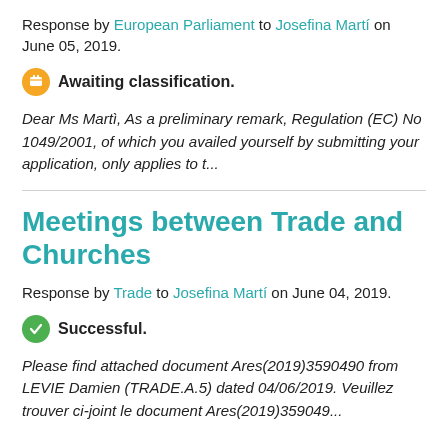Response by European Parliament to Josefina Martí on June 05, 2019.
Awaiting classification.
Dear Ms Martì, As a preliminary remark, Regulation (EC) No 1049/2001, of which you availed yourself by submitting your application, only applies to t...
Meetings between Trade and Churches
Response by Trade to Josefina Martí on June 04, 2019.
Successful.
Please find attached document Ares(2019)3590490 from LEVIE Damien (TRADE.A.5) dated 04/06/2019. Veuillez trouver ci-joint le document Ares(2019)359049...